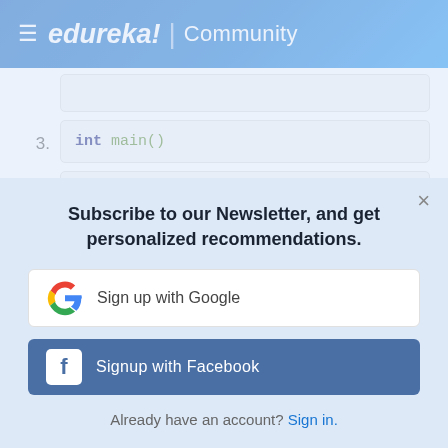≡ edureka! | Community
3.  int main()
4.  {
5.  (partial, cut off)
Subscribe to our Newsletter, and get personalized recommendations.
Sign up with Google
Signup with Facebook
Already have an account? Sign in.